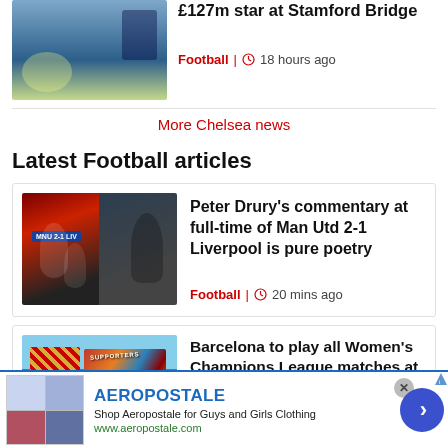[Figure (photo): Partial article card showing a football/soccer image at top of page]
£127m star at Stamford Bridge
Football | 18 hours ago
More Chelsea news
Latest Football articles
[Figure (photo): Split image showing Man Utd vs Liverpool match scene and manager Erik ten Hag]
Peter Drury's commentary at full-time of Man Utd 2-1 Liverpool is pure poetry
Football | 20 mins ago
[Figure (photo): Barcelona stadium with colourful supporters flags]
Barcelona to play all Women's Champions League matches at Camp Nou
[Figure (screenshot): Aeropostale advertisement banner at bottom of page]